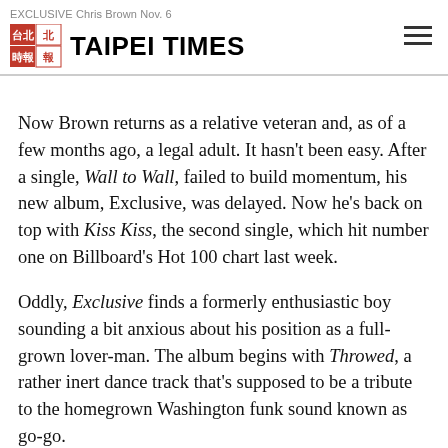EXCLUSIVE Chris Brown Nov. 6 — TAIPEI TIMES
Now Brown returns as a relative veteran and, as of a few months ago, a legal adult. It hasn't been easy. After a single, Wall to Wall, failed to build momentum, his new album, Exclusive, was delayed. Now he's back on top with Kiss Kiss, the second single, which hit number one on Billboard's Hot 100 chart last week.
Oddly, Exclusive finds a formerly enthusiastic boy sounding a bit anxious about his position as a full-grown lover-man. The album begins with Throwed, a rather inert dance track that's supposed to be a tribute to the homegrown Washington funk sound known as go-go.
Elsewhere he borrows brazenly from R 'n' B contemporaries: With You could almost be a cover of Beyonce's Irreplaceable. Damage, a dreary ballad, isn't improved by the T-Pain-ish...